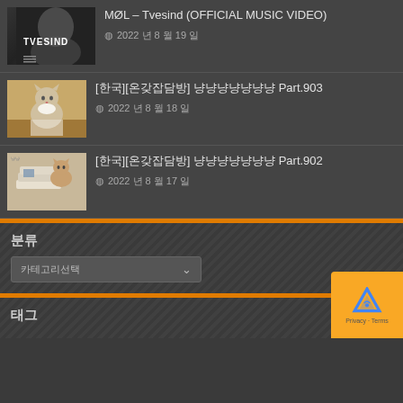[Figure (screenshot): Video list item 1: thumbnail with TVESIND text on dark background, title MØL – Tvesind (OFFICIAL MUSIC VIDEO), date 2022년 8월 19일]
MØL – Tvesind (OFFICIAL MUSIC VIDEO)
2022년 8월 19일
[Figure (screenshot): Video list item 2: thumbnail of a cat, title [한국][온갖잡담방] 냥냥냥냥냥냥냥 Part.903, date 2022년 8월 18일]
[한국][온갖잡담방] 냥냥냥냥냥냥냥 Part.903
2022년 8월 18일
[Figure (screenshot): Video list item 3: thumbnail of a cat with towels, title [한국][온갖잡담방] 냥냥냥냥냥냥냥 Part.902, date 2022년 8월 17일]
[한국][온갖잡담방] 냥냥냥냥냥냥냥 Part.902
2022년 8월 17일
분류
카테고리선택
태그